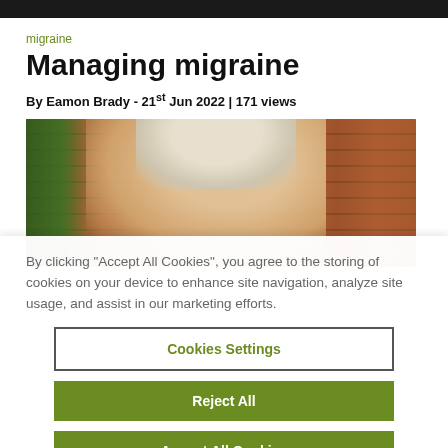migraine
Managing migraine
By Eamon Brady - 21st Jun 2022 | 171 views
[Figure (photo): Middle-aged woman with blonde hair holding her hand to her temple, appearing to have a headache, against a brick wall background with plant in foreground]
By clicking “Accept All Cookies”, you agree to the storing of cookies on your device to enhance site navigation, analyze site usage, and assist in our marketing efforts.
Cookies Settings
Reject All
Accept All Cookies